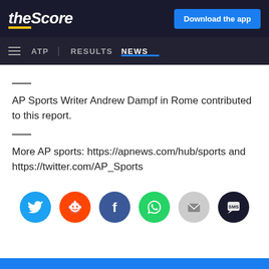theScore | Download the app | ATP | RESULTS | NEWS
AP Sports Writer Andrew Dampf in Rome contributed to this report.
More AP sports: https://apnews.com/hub/sports and https://twitter.com/AP_Sports
[Figure (infographic): Social share icons: Twitter (blue), Reddit (orange), Facebook (dark blue), WhatsApp (green), Email (grey), SMS (dark navy)]